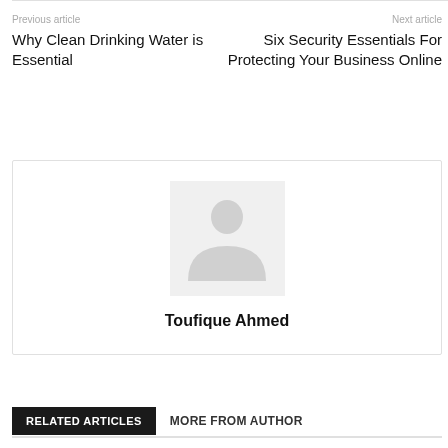Previous article
Why Clean Drinking Water is Essential
Next article
Six Security Essentials For Protecting Your Business Online
[Figure (illustration): Author avatar placeholder with a person silhouette icon on light grey background]
Toufique Ahmed
RELATED ARTICLES
MORE FROM AUTHOR